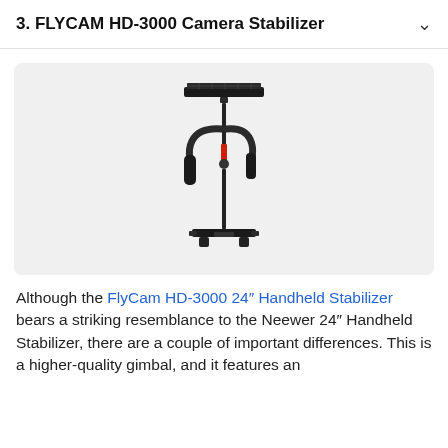3. FLYCAM HD-3000 Camera Stabilizer
[Figure (photo): Photo of the FLYCAM HD-3000 camera stabilizer, a handheld gimbal stabilizer with a flat camera platform on top, articulated arm handle in the middle, and a weighted base at the bottom, shown against a light gray background.]
Although the FlyCam HD-3000 24″ Handheld Stabilizer bears a striking resemblance to the Neewer 24″ Handheld Stabilizer, there are a couple of important differences. This is a higher-quality gimbal, and it features an